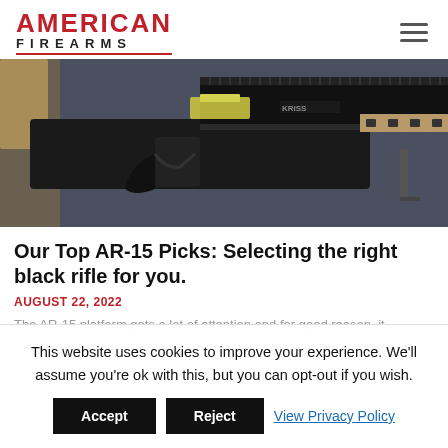AMERICAN FIREARMS
[Figure (photo): Close-up photo of an AR-15 rifle showing the lower receiver, grip, and partial upper receiver with rail system, placed on a dark surface]
Our Top AR-15 Picks: Selecting the right black rifle for you.
AUGUST 22, 2022
The AR-15 platform gets a lot of attention and for good reason, it
This website uses cookies to improve your experience. We'll assume you're ok with this, but you can opt-out if you wish. Accept Reject View Privacy Policy